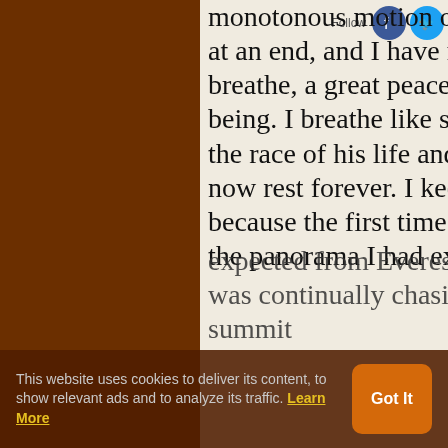monotonous motion of plodding upwards is at an end, and I have nothing more to do than breathe, a great peace floods my whole being. I breathe like someone who has run the race of his life and knows that he may now rest forever. I keep looking all around, because the first time I didn't see anything of the panorama I had expected from Everest, noticed how the wind was continually chasing snow across the summit
This website uses cookies to deliver its content, to show relevant ads and to analyze its traffic. Learn More